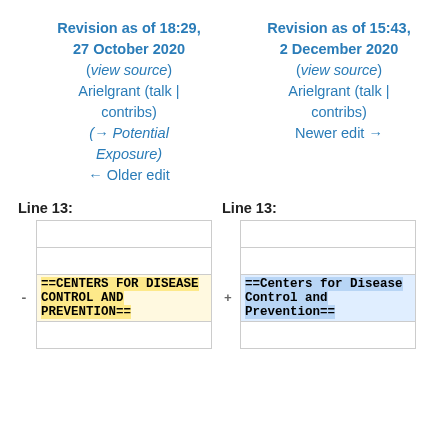Revision as of 18:29, 27 October 2020 (view source) Ealperstein (talk | contribs) (→Potential Exposure) ← Older edit
Revision as of 15:43, 2 December 2020 (view source) Arielgrant (talk | contribs) Newer edit →
Line 13:
Line 13:
==CENTERS FOR DISEASE CONTROL AND PREVENTION==
==Centers for Disease Control and Prevention==